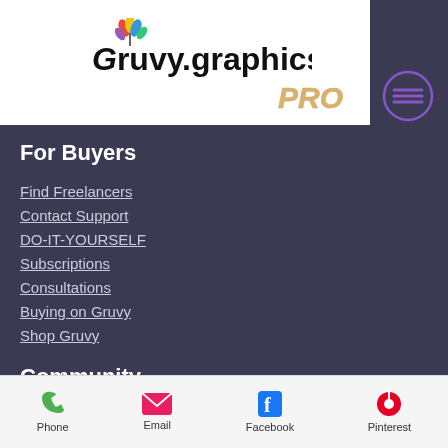[Figure (logo): Gruvy.graphics logo with colorful leaf/feather graphic above the G]
[Figure (other): PRO text in gold italic with purple circle hamburger menu icon]
For Buyers
Find Freelancers
Contact Support
DO-IT-YOURSELF
Subscriptions
Consultations
Buying on Gruvy
Shop Gruvy
Community
Gruvy News
Take A Survey
Current Promotion
Phone  Email  Facebook  Pinterest